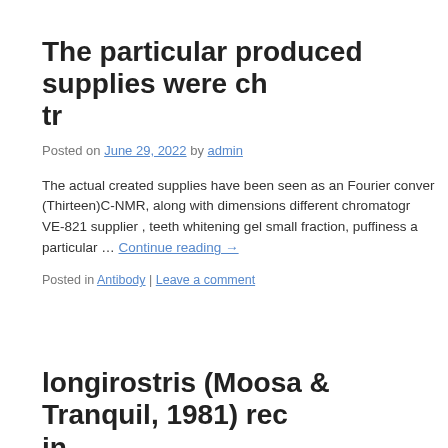The particular produced supplies were ch tr
Posted on June 29, 2022 by admin
The actual created supplies have been seen as an Fourier conver (Thirteen)C-NMR, along with dimensions different chromatogr VE-821 supplier , teeth whitening gel small fraction, puffiness a particular … Continue reading →
Posted in Antibody | Leave a comment
longirostris (Moosa & Tranquil, 1981) rec in
Posted on June 28, 2022 by admin
longirostris (Moosa & Calm, '81) recognized with a woman fro Philippines.Inch"Proliferative vitreo retinopathy (PVR) is a mer